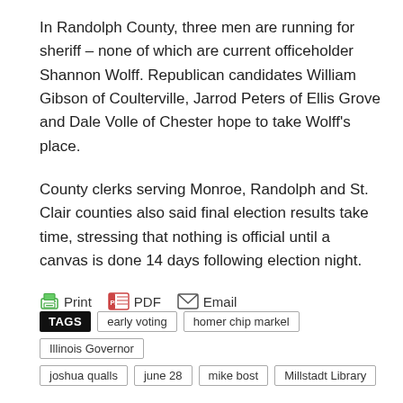In Randolph County, three men are running for sheriff – none of which are current officeholder Shannon Wolff. Republican candidates William Gibson of Coulterville, Jarrod Peters of Ellis Grove and Dale Volle of Chester hope to take Wolff's place.
County clerks serving Monroe, Randolph and St. Clair counties also said final election results take time, stressing that nothing is official until a canvas is done 14 days following election night.
Print  PDF  Email
TAGS: early voting, homer chip markel, Illinois Governor, joshua qualls, june 28, mike bost, Millstadt Library